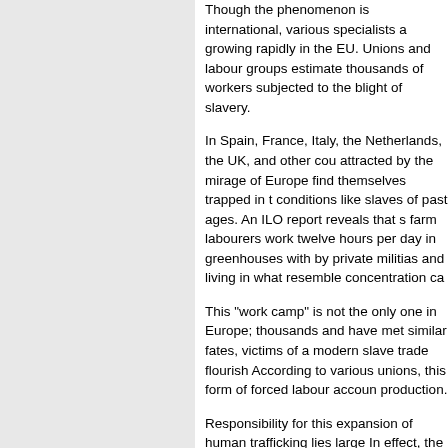Though the phenomenon is international, various specialists are growing rapidly in the EU. Unions and labour groups estimate thousands of workers subjected to the blight of slavery.

In Spain, France, Italy, the Netherlands, the UK, and other countries attracted by the mirage of Europe find themselves trapped in conditions like slaves of past ages. An ILO report reveals that farm labourers work twelve hours per day in greenhouses with by private militias and living in what resemble concentration camps.

This "work camp" is not the only one in Europe; thousands and have met similar fates, victims of a modern slave trade flourishing. According to various unions, this form of forced labour accounts for production.

Responsibility for this expansion of human trafficking lies largely. In effect, the form of neoliberal globalisation than has been imposed, economic shock therapy has devastated the most fragile levels costs. It has created a fierce competition between labour and costs, multinationals manufacture and sell their goods around the world, selling where the cost of living is highest. The new capitalism has and brought about a commodification of labour and labourers.

Globalisation, which offers remarkable opportunities to a lucky few, ruthless and unmediated competition between EU salary workers and their badly-paid, exploited counterparts on the other side of the world: us: social dumping on a planetary scale.